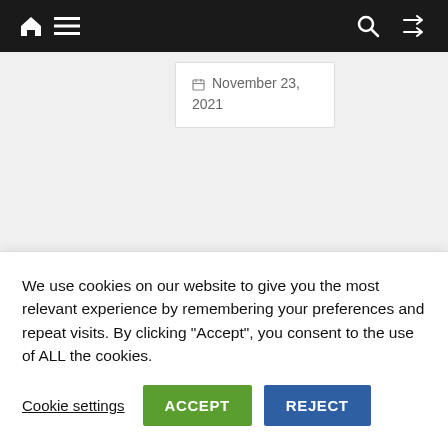Navigation bar with home, menu, search, and shuffle icons
November 23, 2021
SIGN UP for the newsletter
Name
We use cookies on our website to give you the most relevant experience by remembering your preferences and repeat visits. By clicking “Accept”, you consent to the use of ALL the cookies.
Cookie settings  ACCEPT  REJECT